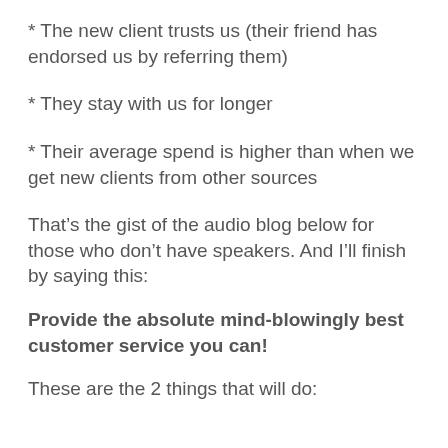* The new client trusts us (their friend has endorsed us by referring them)
* They stay with us for longer
* Their average spend is higher than when we get new clients from other sources
That’s the gist of the audio blog below for those who don’t have speakers. And I’ll finish by saying this:
Provide the absolute mind-blowingly best customer service you can!
These are the 2 things that will do: